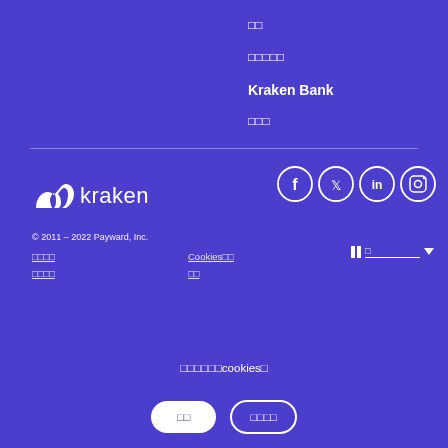□□
□□□□□
Kraken Bank
□□□
[Figure (logo): Kraken logo with stylized tentacle mark and 'kraken' wordmark in white on purple background]
[Figure (infographic): Social media icons: Facebook, Twitter, LinkedIn, Instagram — white circles with icons]
© 2011 - 2022 Payward, Inc.
□□□□
□□□□
Cookies□□
□□
□□
□□□□□□cookies□
□□
□□□□